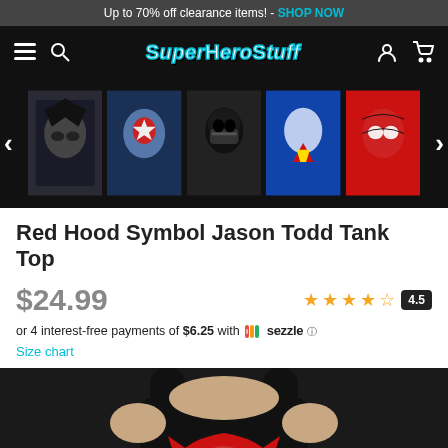Up to 70% off clearance items! - SHOP NOW
[Figure (logo): SuperHeroStuff navigation bar with hamburger menu, search icon, logo, account icon and cart icon]
[Figure (photo): Carousel of superhero character images: Batman, Captain America, Darth Vader, Superman, Spider-Man with left and right arrows]
Red Hood Symbol Jason Todd Tank Top
$24.99
4.5 stars rating
or 4 interest-free payments of $6.25 with Sezzle
Size chart
[Figure (photo): Person wearing a black tank top with red Red Hood / Batman symbol design]